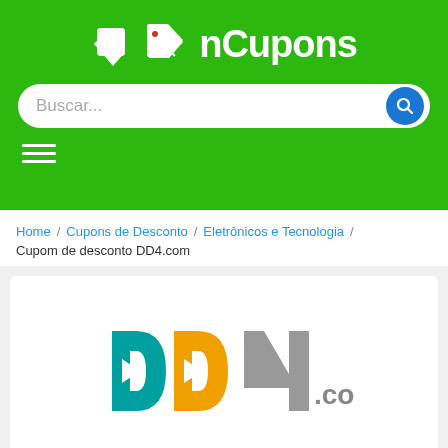[Figure (logo): nCupons website header with green background, price tag icon and white bold text 'nCupons']
[Figure (screenshot): Search bar with placeholder text 'Buscar...' and blue search button with magnifying glass icon]
[Figure (other): Hamburger menu icon (three white horizontal lines) on green background]
Home / Cupons de Desconto / Eletrônicos e Tecnologia / Cupom de desconto DD4.com
[Figure (logo): DD4.com logo with teal D, orange D, gray 4 and .com text]